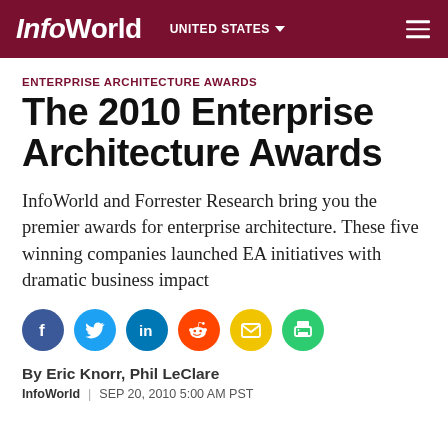InfoWorld | UNITED STATES
ENTERPRISE ARCHITECTURE AWARDS
The 2010 Enterprise Architecture Awards
InfoWorld and Forrester Research bring you the premier awards for enterprise architecture. These five winning companies launched EA initiatives with dramatic business impact
[Figure (infographic): Social sharing icons row: Facebook, Twitter, LinkedIn, Reddit, Email, Print]
By Eric Knorr, Phil LeClare
InfoWorld | SEP 20, 2010 5:00 AM PST